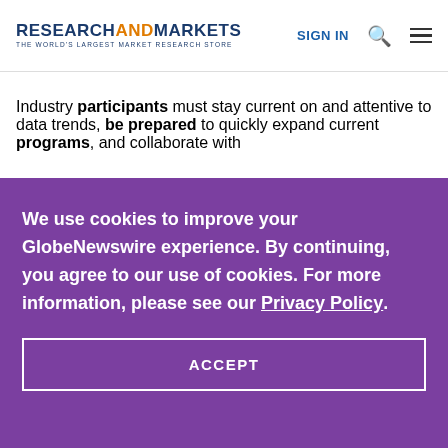RESEARCHANDMARKETS THE WORLD'S LARGEST MARKET RESEARCH STORE | SIGN IN
Industry participants must stay current on and attentive to data trends, be prepared to quickly expand current programs, and collaborate with
We use cookies to improve your GlobeNewswire experience. By continuing, you agree to our use of cookies. For more information, please see our Privacy Policy.
ACCEPT